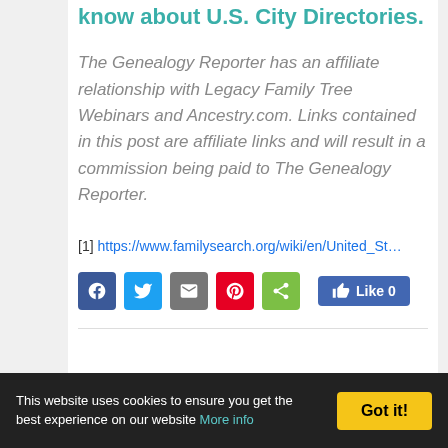know about U.S. City Directories.
The Genealogy Reporter has an affiliate relationship with Legacy Family Tree Webinars and Ancestry.com. Links contained in this post are affiliate links and will result in a commission being paid to The Genealogy Reporter.
[1] https://www.familysearch.org/wiki/en/United_St…
[Figure (infographic): Social share buttons: Facebook, Twitter, Email, Pinterest, Share; and a Facebook Like button showing 0 likes]
This website uses cookies to ensure you get the best experience on our website More info | Got it!